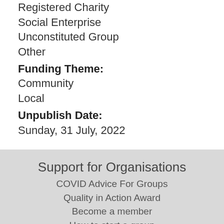Registered Charity
Social Enterprise
Unconstituted Group
Other
Funding Theme:
Community
Local
Unpublish Date:
Sunday, 31 July, 2022
Support for Organisations
COVID Advice For Groups
Quality in Action Award
Become a member
How to start a group
Running a group
Get my group connected
Volunteering